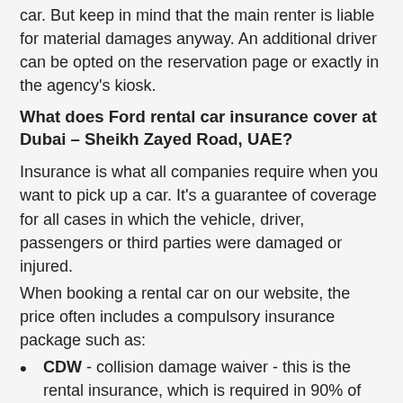car. But keep in mind that the main renter is liable for material damages anyway. An additional driver can be opted on the reservation page or exactly in the agency's kiosk.
What does Ford rental car insurance cover at Dubai – Sheikh Zayed Road, UAE?
Insurance is what all companies require when you want to pick up a car. It's a guarantee of coverage for all cases in which the vehicle, driver, passengers or third parties were damaged or injured.
When booking a rental car on our website, the price often includes a compulsory insurance package such as:
CDW - collision damage waiver - this is the rental insurance, which is required in 90% of the cases of rental cars. Without this insurance, rental companies won't give you a car. Therefore, this insurance is usually included in the price of the car rental and you can't refuse it. This insurance protects you and the Ford rental car from most damage in case of an accident.
TW - theft protection - theft insurance. Also, it is required